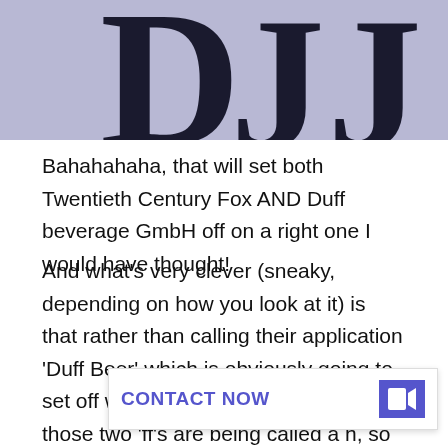[Figure (logo): Partial logo with large stylized letters 'D' and 'JJ' in dark navy/black on a purple-grey background, cropped at top]
Bahahahaha, that will set both Twentieth Century Fox AND Duff beverage GmbH off on a right one I would have thought!
And what’s very clever (sneaky, depending on how you look at it) is that rather than calling their application ‘Duff Beer’ which is obviously going to set off warning bells all over the place, those two ‘ff’s are being called a h, so it’s “D Red”…like so:
CONTACT NOW